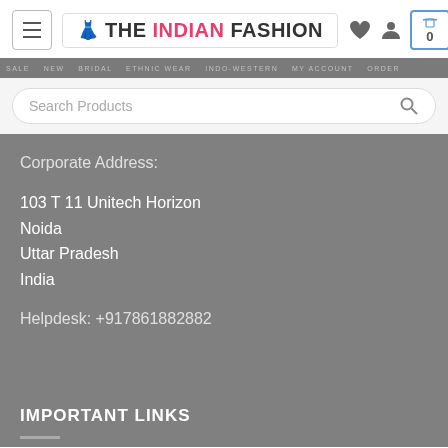THE INDIAN FASHION — navigation header with logo, icons, and search bar
Corporate Address:
103 T 11 Unitech Horizon
Noida
Uttar Pradesh
India
Helpdesk: +917861882882
IMPORTANT LINKS